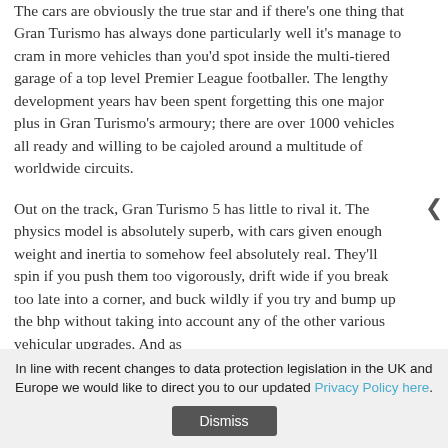The cars are obviously the true star and if there's one thing that Gran Turismo has always done particularly well it's manage to cram in more vehicles than you'd spot inside the multi-tiered garage of a top level Premier League footballer. The lengthy development years hav been spent forgetting this one major plus in Gran Turismo's armoury; there are over 1000 vehicles all ready and willing to be cajoled around a multitude of worldwide circuits.
Out on the track, Gran Turismo 5 has little to rival it. The physics model is absolutely superb, with cars given enough weight and inertia to somehow feel absolutely real. They'll spin if you push them too vigorously, drift wide if you break too late into a corner, and buck wildly if you try and bump up the bhp without taking into account any of the other various vehicular upgrades. And as
In line with recent changes to data protection legislation in the UK and Europe we would like to direct you to our updated Privacy Policy here. Dismiss